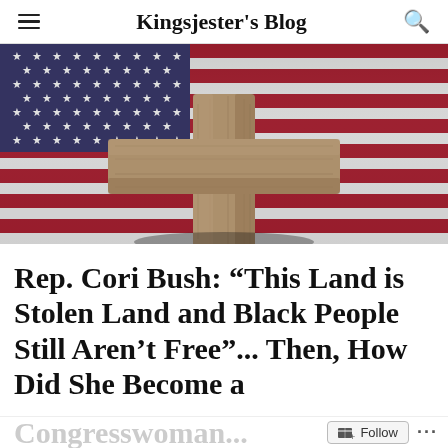Kingsjester's Blog
[Figure (photo): A wooden Christian cross lying on top of a waving American flag, showing the blue canton with white stars and red and white stripes.]
Rep. Cori Bush: “This Land is Stolen Land and Black People Still Aren’t Free”... Then, How Did She Become a Congresswoman...